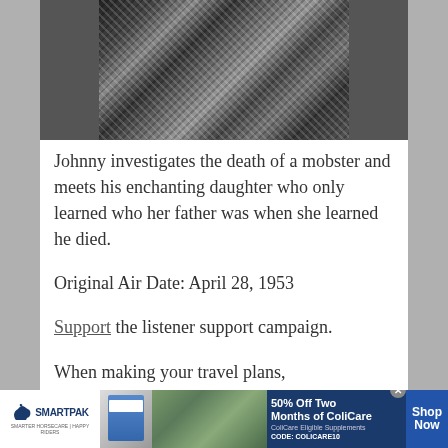[Figure (photo): Black and white photo of a person wearing a houndstooth patterned jacket, cropped showing torso/clothing detail]
Johnny investigates the death of a mobster and meets his enchanting daughter who only learned who her father was when she learned he died.
Original Air Date: April 28, 1953
Support the listener support campaign.
When making your travel plans,
[Figure (infographic): SmartPak advertisement banner: 50% Off Two Months of ColiCare, ColiCare Eligible Supplements, CODE: COLICARE10, Shop Now button]